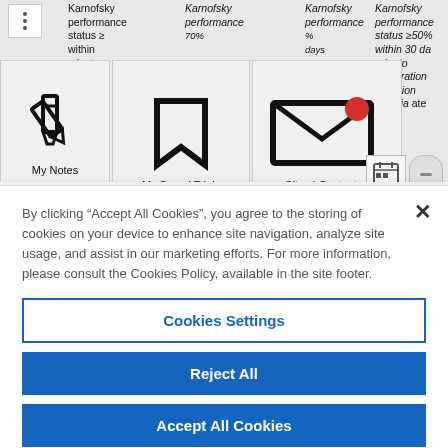[Figure (screenshot): Screenshot of a clinical trials website showing navigation toolbar with My Notes, My Saved Trials, Sites I Contacted icons, and columns of text about Karnofsky performance status criteria]
By clicking “Accept All Cookies”, you agree to the storing of cookies on your device to enhance site navigation, analyze site usage, and assist in our marketing efforts. For more information, please consult the Cookies Policy, available in the site footer.
Cookies Settings
Reject All
Accept All Cookies